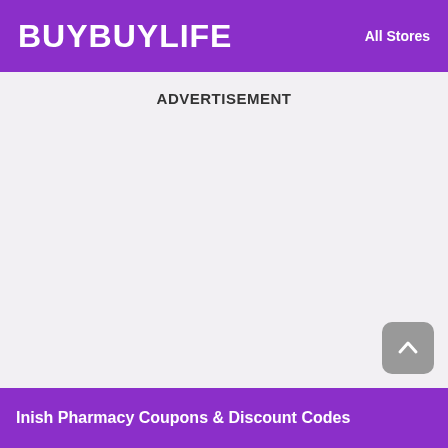BUYBUYLIFE   All Stores
ADVERTISEMENT
Inish Pharmacy Coupons & Discount Codes